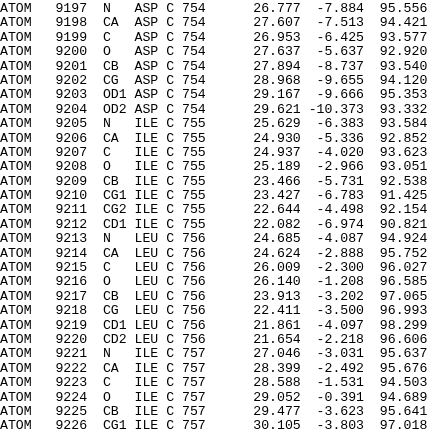| Record | Serial | Name | Res | Chain | ResSeq | X | Y | Z |
| --- | --- | --- | --- | --- | --- | --- | --- | --- |
| ATOM | 9197 | N | ASP | C | 754 | 26.777 | -7.884 | 95.556 |
| ATOM | 9198 | CA | ASP | C | 754 | 27.607 | -7.513 | 94.421 |
| ATOM | 9199 | C | ASP | C | 754 | 26.953 | -6.425 | 93.577 |
| ATOM | 9200 | O | ASP | C | 754 | 27.637 | -5.637 | 92.920 |
| ATOM | 9201 | CB | ASP | C | 754 | 27.894 | -8.737 | 93.540 |
| ATOM | 9202 | CG | ASP | C | 754 | 28.968 | -9.655 | 94.120 |
| ATOM | 9203 | OD1 | ASP | C | 754 | 29.167 | -9.666 | 95.353 |
| ATOM | 9204 | OD2 | ASP | C | 754 | 29.621 | -10.373 | 93.332 |
| ATOM | 9205 | N | ILE | C | 755 | 25.629 | -6.383 | 93.584 |
| ATOM | 9206 | CA | ILE | C | 755 | 24.930 | -5.336 | 92.852 |
| ATOM | 9207 | C | ILE | C | 755 | 24.937 | -4.020 | 93.623 |
| ATOM | 9208 | O | ILE | C | 755 | 25.189 | -2.966 | 93.051 |
| ATOM | 9209 | CB | ILE | C | 755 | 23.466 | -5.731 | 92.538 |
| ATOM | 9210 | CG1 | ILE | C | 755 | 23.427 | -6.783 | 91.425 |
| ATOM | 9211 | CG2 | ILE | C | 755 | 22.644 | -4.498 | 92.154 |
| ATOM | 9212 | CD1 | ILE | C | 755 | 22.082 | -6.974 | 90.821 |
| ATOM | 9213 | N | LEU | C | 756 | 24.685 | -4.087 | 94.924 |
| ATOM | 9214 | CA | LEU | C | 756 | 24.624 | -2.888 | 95.752 |
| ATOM | 9215 | C | LEU | C | 756 | 26.009 | -2.300 | 96.027 |
| ATOM | 9216 | O | LEU | C | 756 | 26.140 | -1.208 | 96.585 |
| ATOM | 9217 | CB | LEU | C | 756 | 23.913 | -3.202 | 97.065 |
| ATOM | 9218 | CG | LEU | C | 756 | 22.411 | -3.500 | 96.993 |
| ATOM | 9219 | CD1 | LEU | C | 756 | 21.861 | -4.097 | 98.299 |
| ATOM | 9220 | CD2 | LEU | C | 756 | 21.654 | -2.218 | 96.606 |
| ATOM | 9221 | N | ILE | C | 757 | 27.046 | -3.031 | 95.637 |
| ATOM | 9222 | CA | ILE | C | 757 | 28.399 | -2.492 | 95.676 |
| ATOM | 9223 | C | ILE | C | 757 | 28.588 | -1.531 | 94.503 |
| ATOM | 9224 | O | ILE | C | 757 | 29.052 | -0.391 | 94.689 |
| ATOM | 9225 | CB | ILE | C | 757 | 29.477 | -3.623 | 95.641 |
| ATOM | 9226 | CG1 | ILE | C | 757 | 30.105 | -3.803 | 97.018 |